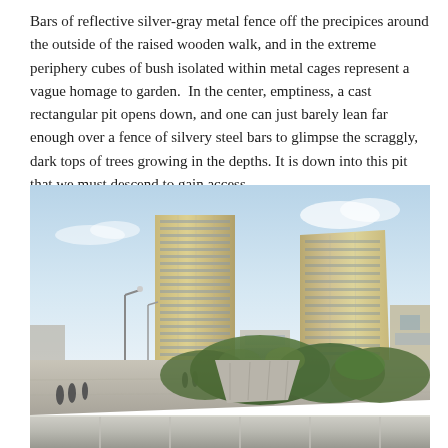Bars of reflective silver-gray metal fence off the precipices around the outside of the raised wooden walk, and in the extreme periphery cubes of bush isolated within metal cages represent a vague homage to garden.  In the center, emptiness, a cast rectangular pit opens down, and one can just barely lean far enough over a fence of silvery steel bars to glimpse the scraggly, dark tops of trees growing in the depths. It is down into this pit that we must descend to gain access.
[Figure (photo): Photograph of two tall modern buildings (towers) with glass and concrete facades rising over a city skyline. In the foreground is a large concrete rooftop/plaza area with people walking on it, and a low metallic barrier or wall in the very foreground. Dense green tree canopy is visible below and to the right of the towers, with urban buildings in the background under a partly cloudy sky.]